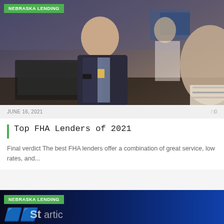[Figure (photo): Business meeting scene: a man in a dark suit with a badge leaning forward at a table with a laptop, speaking to two other people]
NEBRASKA LENDING
JUNE 16, 2021   0
Top FHA Lenders of 2021
Final verdict The best FHA lenders offer a combination of great service, low rates, and...
[Figure (photo): Second card image with Nebraska Lending badge and partially visible logo text on dark blue background]